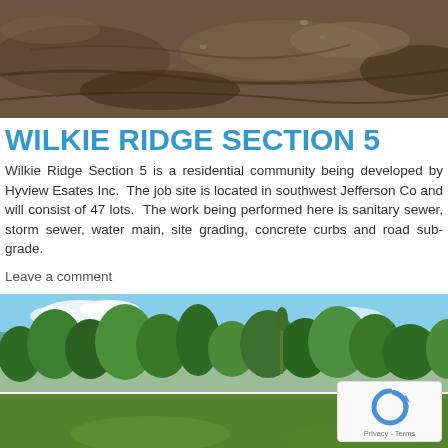[Figure (photo): Aerial/ground-level photo of a dirt construction site with excavated earth and mounds of soil]
WILKIE RIDGE SECTION 5
Wilkie Ridge Section 5 is a residential community being developed by Hyview Esates Inc.  The job site is located in southwest Jefferson Co and will consist of 47 lots.  The work being performed here is sanitary sewer, storm sewer, water main, site grading, concrete curbs and road sub-grade.
Leave a comment
[Figure (photo): Landscape photo showing an open grassy field with a tree line of green deciduous trees in the background under a blue sky]